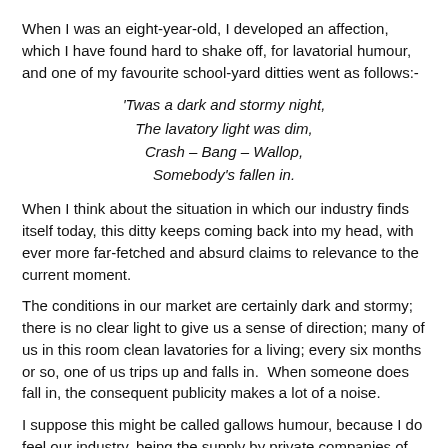When I was an eight-year-old, I developed an affection, which I have found hard to shake off, for lavatorial humour, and one of my favourite school-yard ditties went as follows:-
'Twas a dark and stormy night,
The lavatory light was dim,
Crash – Bang – Wallop,
Somebody's fallen in.
When I think about the situation in which our industry finds itself today, this ditty keeps coming back into my head, with ever more far-fetched and absurd claims to relevance to the current moment.
The conditions in our market are certainly dark and stormy; there is no clear light to give us a sense of direction; many of us in this room clean lavatories for a living; every six months or so, one of us trips up and falls in.  When someone does fall in, the consequent publicity makes a lot of a noise.
I suppose this might be called gallows humour, because I do feel our industry, being the supply by private companies of public services, certainly as far as the UK is concerned, faces some really serious challenges.  But to understand